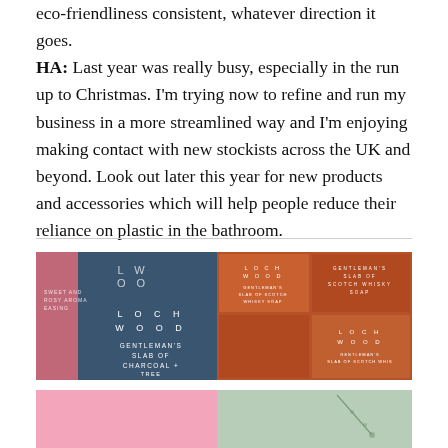eco-friendliness consistent, whatever direction it goes. HA: Last year was really busy, especially in the run up to Christmas. I'm trying now to refine and run my business in a more streamlined way and I'm enjoying making contact with new stockists across the UK and beyond. Look out later this year for new products and accessories which will help people reduce their reliance on plastic in the bathroom.
[Figure (photo): Blue soap bar box with 'LOCH WOOD' branding and 'GENTLEMAN'S SLAB OF CHARCOAL + TREE' text on navy/blue background]
[Figure (photo): Multiple orange/terracotta soap boxes with 'LOCH WOOD' branding, arranged in a grid pattern]
[Figure (photo): Pink background product photo, partially visible at bottom]
[Figure (photo): Sage/mint green background with botanical elements, partially visible at bottom]